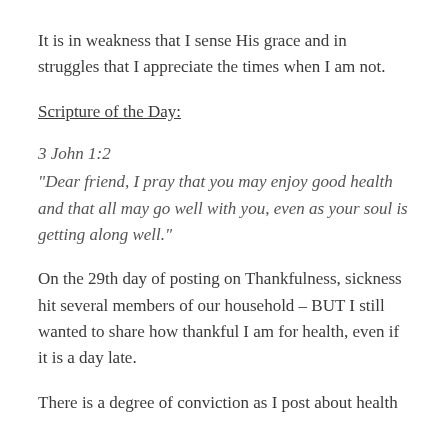It is in weakness that I sense His grace and in struggles that I appreciate the times when I am not.
Scripture of the Day:
3 John 1:2
"Dear friend, I pray that you may enjoy good health and that all may go well with you, even as your soul is getting along well."
On the 29th day of posting on Thankfulness, sickness hit several members of our household – BUT I still wanted to share how thankful I am for health, even if it is a day late.
There is a degree of conviction as I post about health